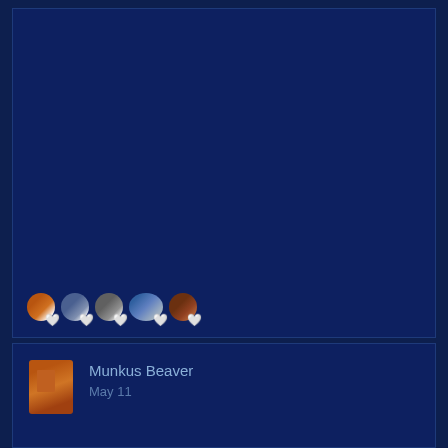[Figure (illustration): Dark navy blue post/card area, mostly empty, representing a social media post content area]
[Figure (other): Row of 5 reaction icons with heart overlays: fox avatar, white circle, cat avatar, photo avatar, brown avatar]
Munkus Beaver
May 11